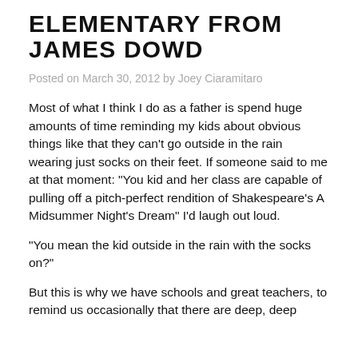ELEMENTARY FROM JAMES DOWD
Posted on March 30, 2012 by Joey Ciaramitaro
Most of what I think I do as a father is spend huge amounts of time reminding my kids about obvious things like that they can't go outside in the rain wearing just socks on their feet. If someone said to me at that moment: "You kid and her class are capable of pulling off a pitch-perfect rendition of Shakespeare's A Midsummer Night's Dream" I'd laugh out loud.
"You mean the kid outside in the rain with the socks on?"
But this is why we have schools and great teachers, to remind us occasionally that there are deep, deep wells of talent in the child...